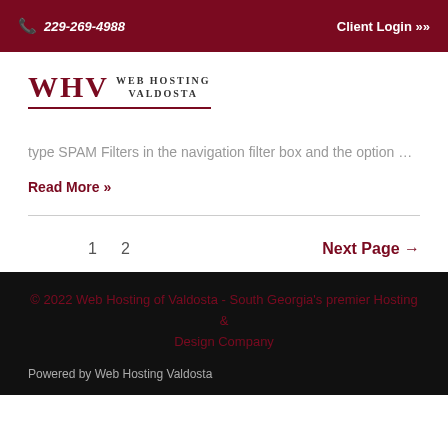📞 229-269-4988   Client Login »»
[Figure (logo): WHV Web Hosting Valdosta logo with dark red text and underline]
type SPAM Filters in the navigation filter box and the option …
Read More »
1   2   Next Page →
© 2022 Web Hosting of Valdosta - South Georgia's premier Hosting & Design Company
Powered by Web Hosting Valdosta